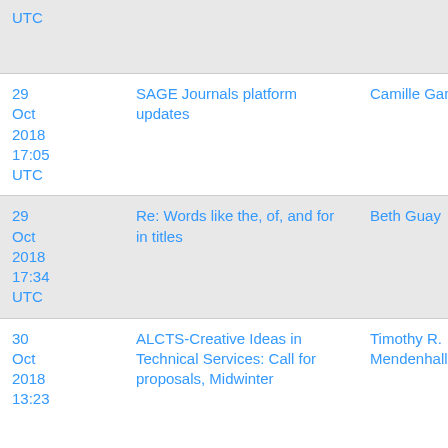| Date | Subject | Author |
| --- | --- | --- |
| UTC |  |  |
| 29 Oct 2018 17:05 UTC | SAGE Journals platform updates | Camille Gamboa |
| 29 Oct 2018 17:34 UTC | Re: Words like the, of, and for in titles | Beth Guay |
| 30 Oct 2018 13:23 | ALCTS-Creative Ideas in Technical Services: Call for proposals, Midwinter | Timothy R. Mendenhall |